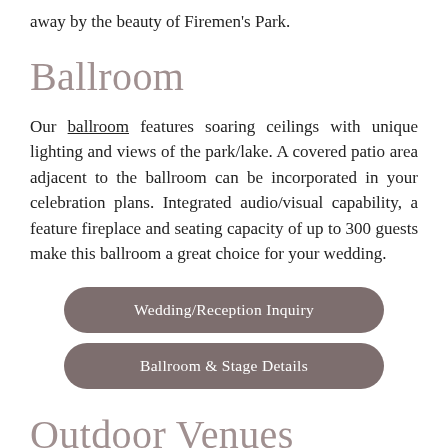away by the beauty of Firemen's Park.
Ballroom
Our ballroom features soaring ceilings with unique lighting and views of the park/lake. A covered patio area adjacent to the ballroom can be incorporated in your celebration plans. Integrated audio/visual capability, a feature fireplace and seating capacity of up to 300 guests make this ballroom a great choice for your wedding.
Wedding/Reception Inquiry
Ballroom & Stage Details
Outdoor Venues
The stage placement on the edge of the lake is a spectacular setting for larger